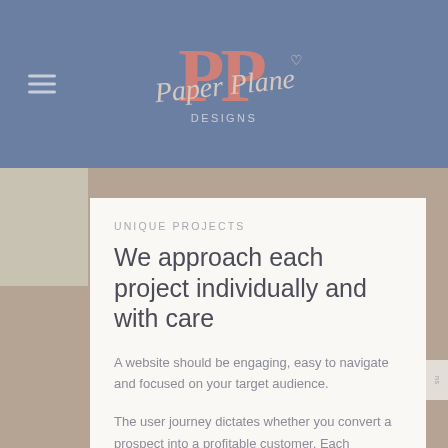Paper Plane Designs — navigation header with logo
UNIQUE PROJECTS
We approach each project individually and with care
A website should be engaging, easy to navigate and focused on your target audience.
The user journey dictates whether you convert a prospect into a profitable customer. Each decision you make about the design will affect how a user interacts with the page. I'll create a website that puts your users first. I will make recommendations and